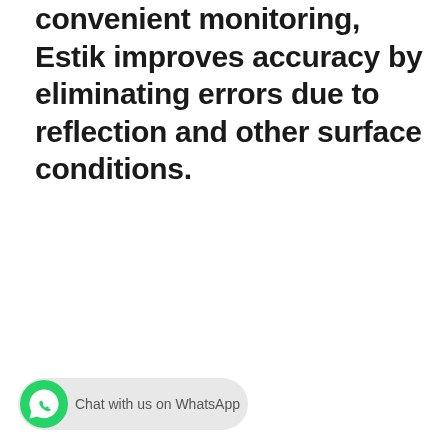convenient monitoring, Estik improves accuracy by eliminating errors due to reflection and other surface conditions.
[Figure (screenshot): WhatsApp chat button with green WhatsApp logo and text 'Chat with us on WhatsApp' on a light grey rounded pill background]